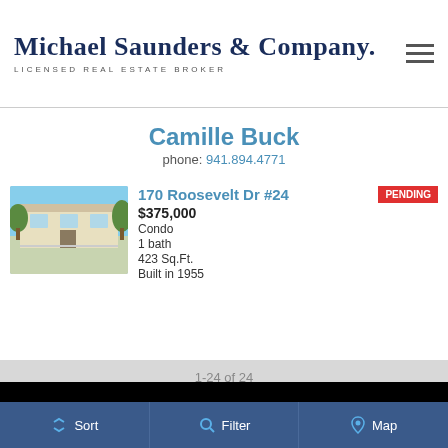Michael Saunders & Company. LICENSED REAL ESTATE BROKER
Camille Buck
phone: 941.894.4771
170 Roosevelt Dr #24
$375,000
Condo
1 bath
423 Sq.Ft.
Built in 1955
PENDING
1-24 of 24
[Figure (other): Social media icons: LinkedIn and Facebook circular icons on black background]
Sort  Filter  Map